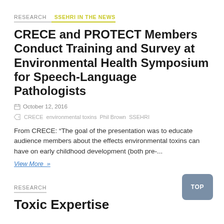RESEARCH  SSEHRI IN THE NEWS
CRECE and PROTECT Members Conduct Training and Survey at Environmental Health Symposium for Speech-Language Pathologists
October 12, 2016
CRECE  environmental toxins  Phil Brown  SSEHRI
From CRECE: “The goal of the presentation was to educate audience members about the effects environmental toxins can have on early childhood development (both pre-...
View More »
RESEARCH
Toxic Expertise